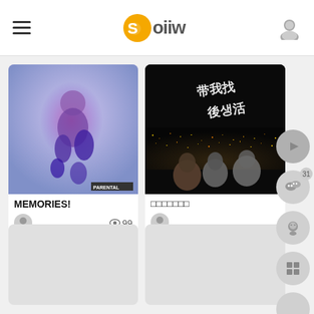Goiiw app header with hamburger menu, logo, and user icon
[Figure (screenshot): Album art showing blurry figure jumping, purple/blue tones, parental advisory label]
MEMORIES!
99 views
[Figure (photo): Night photo of city skyline with group of people sitting, Chinese handwritten text overlay]
□□□□□□□